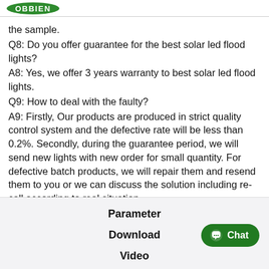OBBIEN
the sample.
Q8: Do you offer guarantee for the best solar led flood lights?
A8: Yes, we offer 3 years warranty to best solar led flood lights.
Q9: How to deal with the faulty?
A9: Firstly, Our products are produced in strict quality control system and the defective rate will be less than 0.2%. Secondly, during the guarantee period, we will send new lights with new order for small quantity. For defective batch products, we will repair them and resend them to you or we can discuss the solution including re-call according to real situation.
Parameter
Download
Video